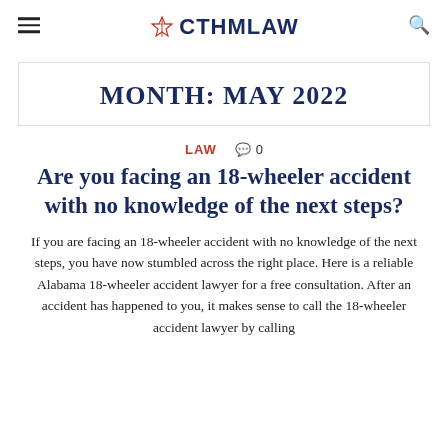CTHMLAW
MONTH: MAY 2022
LAW   0
Are you facing an 18-wheeler accident with no knowledge of the next steps?
If you are facing an 18-wheeler accident with no knowledge of the next steps, you have now stumbled across the right place. Here is a reliable Alabama 18-wheeler accident lawyer for a free consultation. After an accident has happened to you, it makes sense to call the 18-wheeler accident lawyer by calling